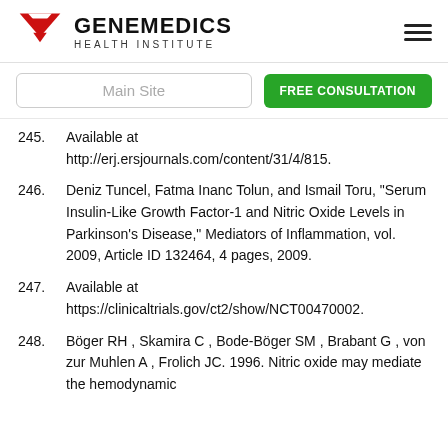GENEMEDICS HEALTH INSTITUTE
245. Available at http://erj.ersjournals.com/content/31/4/815.
246. Deniz Tuncel, Fatma Inanc Tolun, and Ismail Toru, "Serum Insulin-Like Growth Factor-1 and Nitric Oxide Levels in Parkinson's Disease," Mediators of Inflammation, vol. 2009, Article ID 132464, 4 pages, 2009.
247. Available at https://clinicaltrials.gov/ct2/show/NCT00470002.
248. Böger RH , Skamira C , Bode-Böger SM , Brabant G , von zur Muhlen A , Frolich JC. 1996. Nitric oxide may mediate the hemodynamic